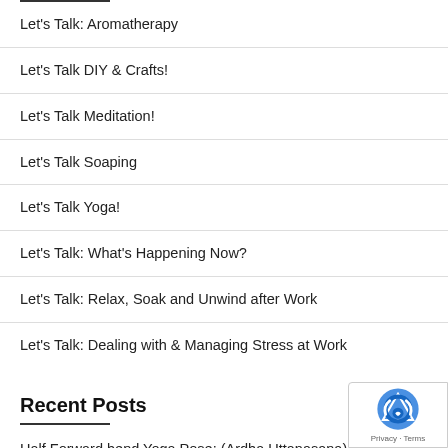Let's Talk: Aromatherapy
Let's Talk DIY & Crafts!
Let's Talk Meditation!
Let's Talk Soaping
Let's Talk Yoga!
Let's Talk: What's Happening Now?
Let's Talk: Relax, Soak and Unwind after Work
Let's Talk: Dealing with & Managing Stress at Work
Recent Posts
Half Forward bend Yoga Pose: (Ardha Uttanasana)